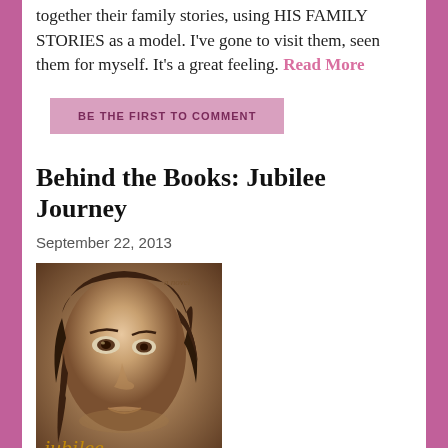together their family stories, using HIS FAMILY STORIES as a model. I've gone to visit them, seen them for myself. It's a great feeling. Read More
BE THE FIRST TO COMMENT
Behind the Books: Jubilee Journey
September 22, 2013
[Figure (photo): Book cover of 'Jubilee Journey' showing a sepia-toned close-up photograph of a young woman's face with curly hair, with the title 'jubilee' in gold italic text at the bottom and 'a novel' text near the top right.]